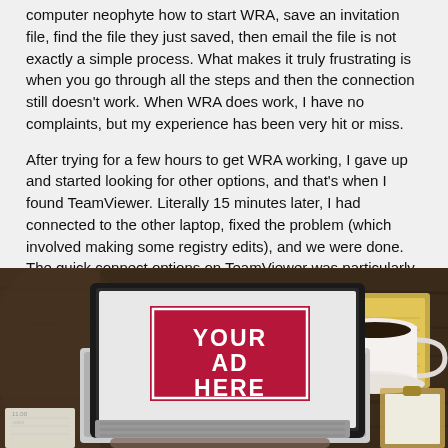computer neophyte how to start WRA, save an invitation file, find the file they just saved, then email the file is not exactly a simple process. What makes it truly frustrating is when you go through all the steps and then the connection still doesn't work. When WRA does work, I have no complaints, but my experience has been very hit or miss.
After trying for a few hours to get WRA working, I gave up and started looking for other options, and that's when I found TeamViewer. Literally 15 minutes later, I had connected to the other laptop, fixed the problem (which involved making some registry edits), and we were done. The quick connect options on TeamViewer was particularly handy, as it skips past the installation process and lets you get straight to helping someone.
Sponsored Links
[Figure (photo): Advertisement placeholder image showing a laptop on a wooden desk with a red sign reading 'YOUR AD HERE' on the screen, with a coffee cup on a yellow notepad to the right, and other desk items visible.]